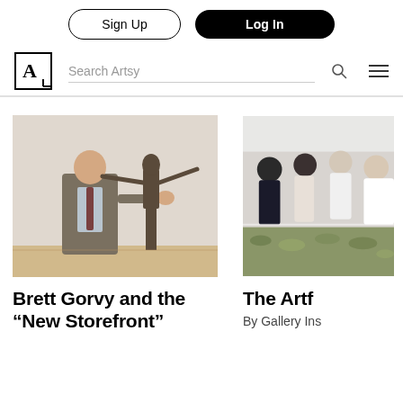Sign Up | Log In
[Figure (screenshot): Artsy website navigation bar with logo, search bar, search icon, and hamburger menu]
[Figure (photo): Man in suit standing next to a tall dark bronze abstract figurative sculpture in a gallery with white walls and wooden floor]
[Figure (photo): Partial view of art gallery visitors standing around an art installation]
Brett Gorvy and the “New Storefront”
The Artf
By Gallery Ins